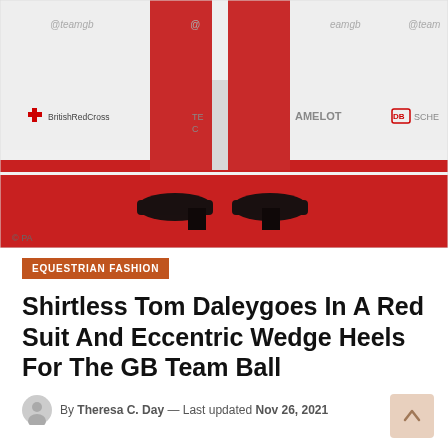[Figure (photo): Photo of a person wearing a red suit with flared trousers and black platform wedge heels, standing on a red carpet in front of a white sponsor backdrop showing @teamgb, BritishRedCross, CAMELOT, and DB SCHENKER logos. Photo credit: © PA]
EQUESTRIAN FASHION
Shirtless Tom Daleygoes In A Red Suit And Eccentric Wedge Heels For The GB Team Ball
By Theresa C. Day — Last updated Nov 26, 2021